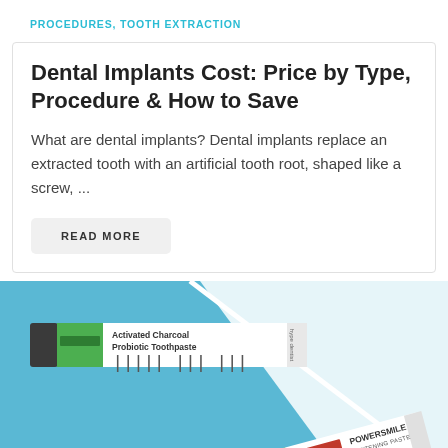PROCEDURES, TOOTH EXTRACTION
Dental Implants Cost: Price by Type, Procedure & How to Save
What are dental implants? Dental implants replace an extracted tooth with an artificial tooth root, shaped like a screw, ...
READ MORE
[Figure (photo): Promotional image showing two toothpaste tubes (Activated Charcoal Probiotic Toothpaste and Jason Powersmile Whitening Paste) on a light blue background with a diagonal white stripe]